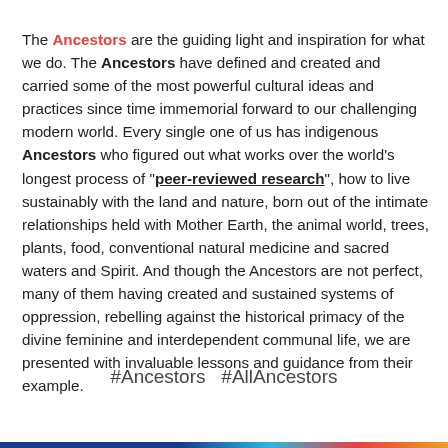The Ancestors are the guiding light and inspiration for what we do. The Ancestors have defined and created and carried some of the most powerful cultural ideas and practices since time immemorial forward to our challenging modern world. Every single one of us has indigenous Ancestors who figured out what works over the world's longest process of "peer-reviewed research", how to live sustainably with the land and nature, born out of the intimate relationships held with Mother Earth, the animal world, trees, plants, food, conventional natural medicine and sacred waters and Spirit. And though the Ancestors are not perfect, many of them having created and sustained systems of oppression, rebelling against the historical primacy of the divine feminine and interdependent communal life, we are presented with invaluable lessons and guidance from their example.
#Ancestors  #AllAncestors